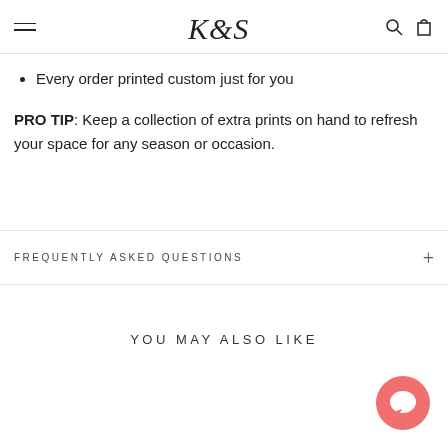K&S logo with hamburger menu, search, and cart icons
Every order printed custom just for you
PRO TIP: Keep a collection of extra prints on hand to refresh your space for any season or occasion.
FREQUENTLY ASKED QUESTIONS
YOU MAY ALSO LIKE
[Figure (illustration): Coral/salmon colored chat bubble icon in bottom right corner]